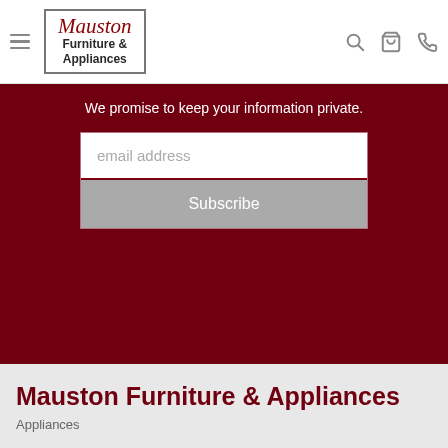[Figure (logo): Mauston Furniture & Appliances logo with script 'Mauston' above block text 'Furniture & Appliances' inside a rectangular border]
We promise to keep your information private.
email address
Subscribe
Mauston Furniture & Appliances
Appliances